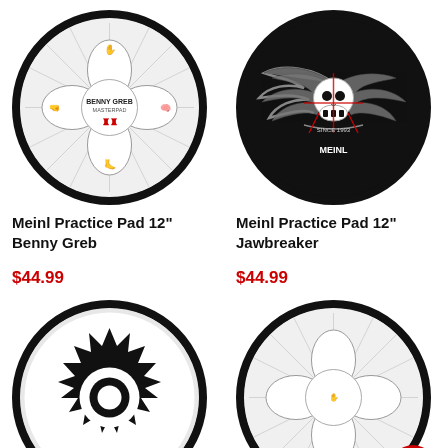[Figure (photo): Meinl Practice Pad 12" Benny Greb - circular drum practice pad with white center showing illustrated hand, foot, brain, drum imagery arranged around central Benny Greb Masterpad logo with red Meinl logo, black border, radiating spikes pattern]
Meinl Practice Pad 12" Benny Greb
$44.99
[Figure (photo): Meinl Practice Pad 12" Jawbreaker - circular drum practice pad with black background showing skull with wings tattoo-style design and Meinl logo, dark border]
Meinl Practice Pad 12" Jawbreaker
$44.99
[Figure (photo): Meinl practice pad bottom left - circular pad with white/grey background showing black gear/cog wheel pattern]
[Figure (photo): Meinl practice pad bottom right - circular pad with radiating spike pattern similar to Benny Greb, partially visible with red scroll-to-top button overlay]